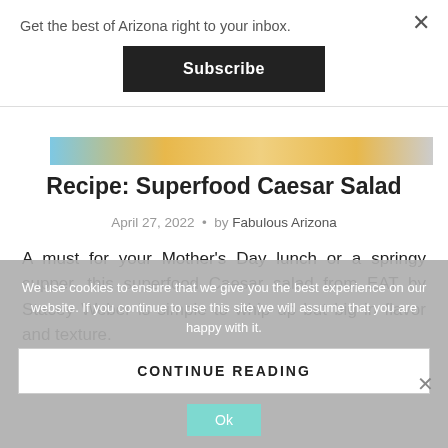Get the best of Arizona right to your inbox.
Subscribe
[Figure (photo): Partial image of a salad with blue, gold, and warm tones — article hero image strip]
Recipe: Superfood Caesar Salad
April 27, 2022 • by Fabulous Arizona
A must for your Mother's Day lunch or a springy supper, this superfood Caesar salad from EAT by Stacey Weber is simple to whip up but big in flavor and texture.
We use cookies to ensure that we give you the best experience on our website. If you continue to use this site we will assume that you are happy with it.
CONTINUE READING
Ok